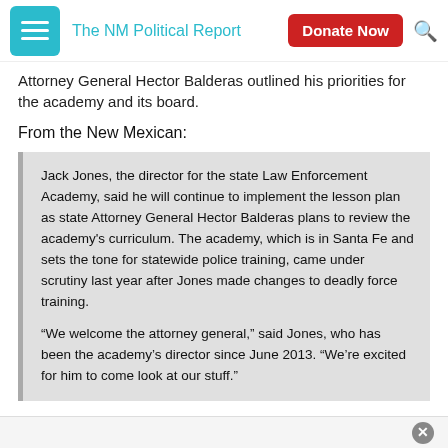The NM Political Report
Attorney General Hector Balderas outlined his priorities for the academy and its board.
From the New Mexican:
Jack Jones, the director for the state Law Enforcement Academy, said he will continue to implement the lesson plan as state Attorney General Hector Balderas plans to review the academy's curriculum. The academy, which is in Santa Fe and sets the tone for statewide police training, came under scrutiny last year after Jones made changes to deadly force training.

“We welcome the attorney general,” said Jones, who has been the academy’s director since June 2013. “We’re excited for him to come look at our stuff.”